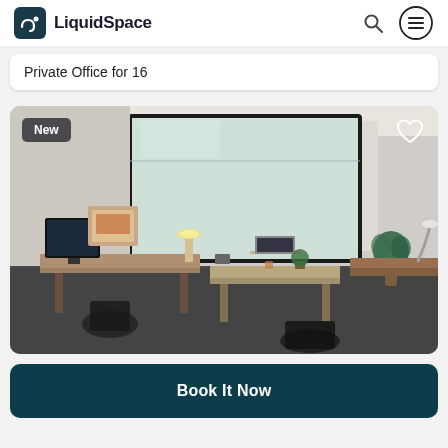LiquidSpace
Private Office for 16
[Figure (photo): Interior photo of a private office with desks, chairs, computers, plants, and frosted glass partition walls. A 'New' badge appears in top-left and a heart/favorite icon in top-right.]
Book It Now